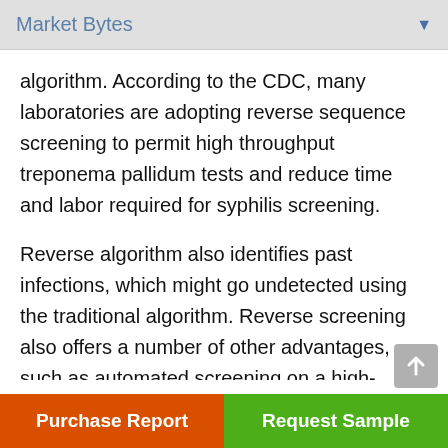Market Bytes
algorithm. According to the CDC, many laboratories are adopting reverse sequence screening to permit high throughput treponema pallidum tests and reduce time and labor required for syphilis screening.
Reverse algorithm also identifies past infections, which might go undetected using the traditional algorithm. Reverse screening also offers a number of other advantages, such as automated screening on a high-throughput treponema pallidum test
Purchase Report | Request Sample